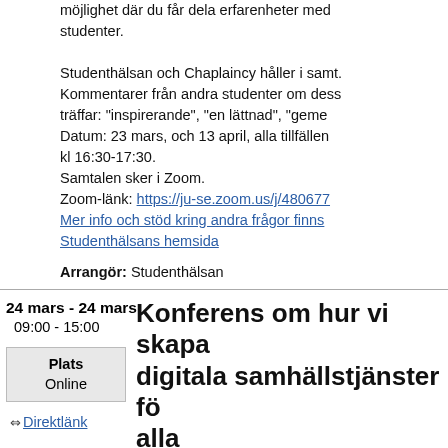möjlighet där du får dela erfarenheter med studenter.
Studenthälsan och Chaplaincy håller i samt. Kommentarer från andra studenter om dessa träffar: "inspirerande", "en lättnad", "geme... Datum: 23 mars, och 13 april, alla tillfällen kl 16:30-17:30. Samtalen sker i Zoom. Zoom-länk: https://ju-se.zoom.us/j/4806770... Mer info och stöd kring andra frågor finns Studenthälsans hemsida
Arrangör: Studenthälsan
24 mars - 24 mars
09:00 - 15:00
Plats
Online
Direktlänk
Konferens om hur vi skapar digitala samhällstjänster för alla
Digitalisering och användning av digital te... samhället kan skapa fantastiska möjlighete... att ta del av våra samhällstjänster oavsett å... hur eller funktionsförmåga. Digitaliserin...